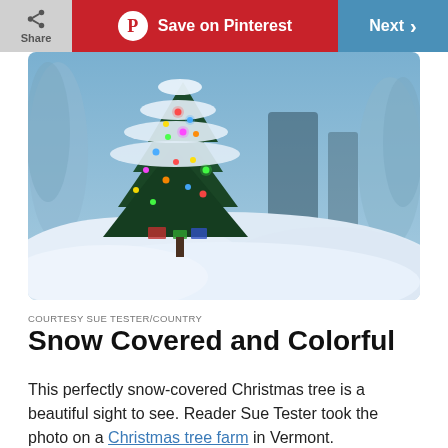[Figure (screenshot): Website toolbar with Share button, Save on Pinterest button (red), and Next button (blue)]
[Figure (photo): A snow-covered Christmas tree decorated with colorful lights in a snowy outdoor setting, surrounded by snow-laden trees]
COURTESY SUE TESTER/COUNTRY
Snow Covered and Colorful
This perfectly snow-covered Christmas tree is a beautiful sight to see. Reader Sue Tester took the photo on a Christmas tree farm in Vermont.